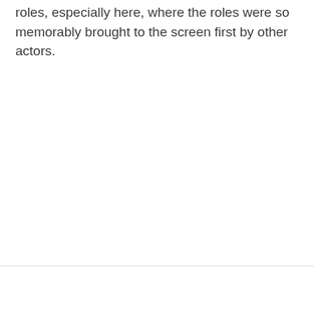roles, especially here, where the roles were so memorably brought to the screen first by other actors.